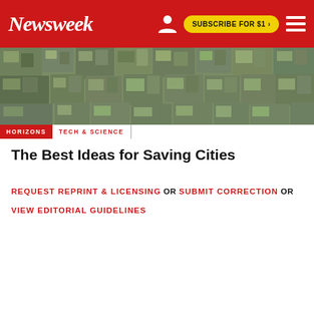Newsweek — SUBSCRIBE FOR $1 >
[Figure (photo): Aerial view of a dense urban settlement or slum area showing rooftops and streets from above]
HORIZONS | TECH & SCIENCE
The Best Ideas for Saving Cities
REQUEST REPRINT & LICENSING OR SUBMIT CORRECTION OR VIEW EDITORIAL GUIDELINES